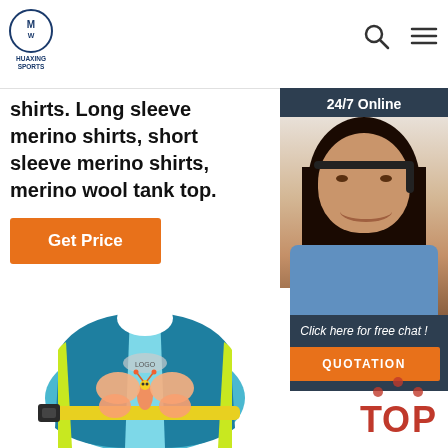[Figure (logo): Huaxing Sports logo — circular emblem with text 'HUAXING SPORTS' below]
shirts. Long sleeve merino shirts, short sleeve merino shirts, merino wool tank top.
Get Price
[Figure (photo): 24/7 Online customer service agent — woman with headset smiling, with 'Click here for free chat!' text and QUOTATION button on dark background]
[Figure (photo): Children's blue and yellow swim vest/life jacket with butterfly graphic]
[Figure (other): TOP navigation button with red dots and text]